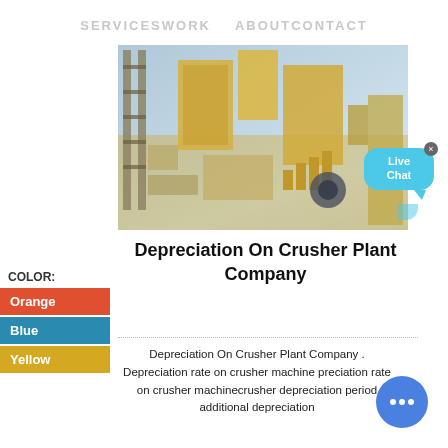SERVICES   WORK   ABOUT   CONTACT
[Figure (photo): Industrial crusher plant machinery — yellow and grey industrial equipment photographed from above]
Depreciation On Crusher Plant Company
Orange
Blue
Yellow
Depreciation On Crusher Plant Company . Depreciation rate on crusher machine preciation rate on crusher machinecrusher depreciation period additional depreciation